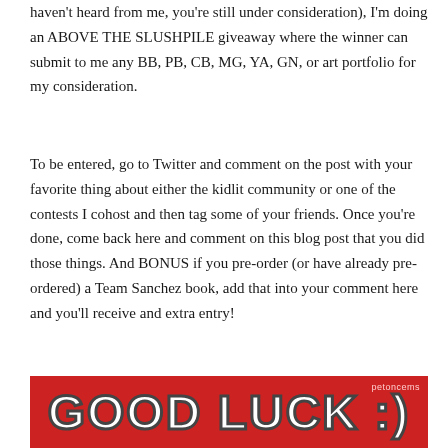haven't heard from me, you're still under consideration), I'm doing an ABOVE THE SLUSHPILE giveaway where the winner can submit to me any BB, PB, CB, MG, YA, GN, or art portfolio for my consideration.
To be entered, go to Twitter and comment on the post with your favorite thing about either the kidlit community or one of the contests I cohost and then tag some of your friends. Once you're done, come back here and comment on this blog post that you did those things. And BONUS if you pre-order (or have already pre-ordered) a Team Sanchez book, add that into your comment here and you'll receive and extra entry!
[Figure (other): Red banner image with bold white text reading 'GOOD LUCK :)' and a small watermark 'petoncems' in the top right corner.]